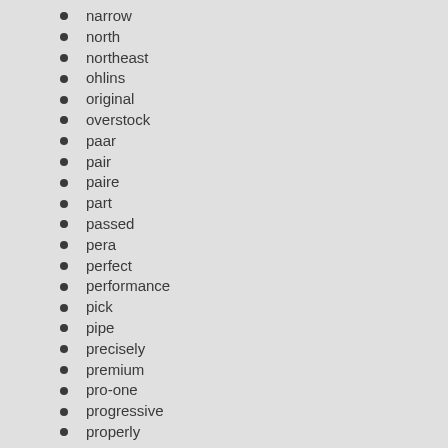narrow
north
northeast
ohlins
original
overstock
paar
pair
paire
part
passed
pera
perfect
performance
pick
pipe
precisely
premium
pro-one
progressive
properly